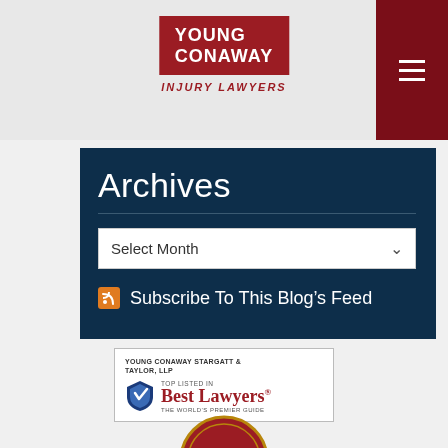[Figure (logo): Young Conaway Injury Lawyers logo — red square with white bold text YOUNG CONAWAY, below italic red text INJURY LAWYERS]
Archives
Select Month
Subscribe To This Blog's Feed
[Figure (logo): Young Conaway Stargatt & Taylor LLP — Best Lawyers Top Listed, The World's Premier Guide badge]
[Figure (logo): Million dollar advocates badge (partial)]